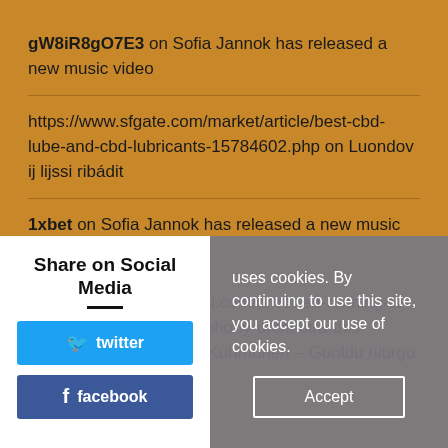gW8iR8gO7E3 on Sofia Jannok has released a new music video
https://www.sfgate.com/market/article/best-cbd-lube-and-cbd-lubricants-15784602.php on Luondov ij lijssi ribádit
1xbet on Sofia Jannok has released a new music video
https://www.digitaljournal.com/pr/robert-ronning-to-join-the-vancouver-symphony-orchestra-this-christmas on Lars-Ánte Kuhmunen – Guoldu niurgo
Share on Social Media
twitter
facebook
uses cookies. By continuing to use this site, you accept our use of cookies.
Accept